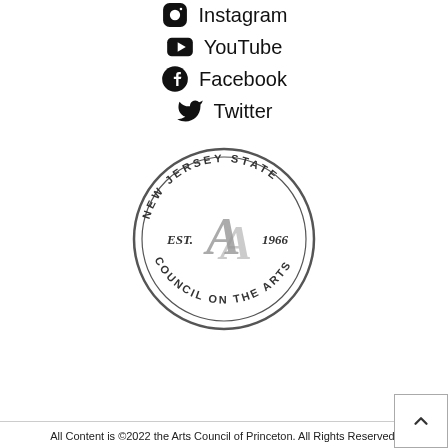Instagram
YouTube
Facebook
Twitter
[Figure (logo): New Jersey State Council on the Arts circular seal logo, EST. 1966, with stylized letter A in center]
All Content is ©2022 the Arts Council of Princeton. All Rights Reserved.